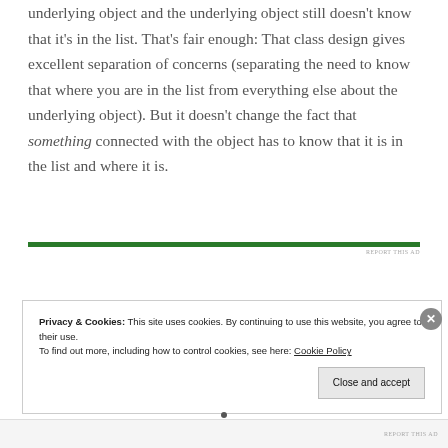underlying object and the underlying object still doesn't know that it's in the list. That's fair enough: That class design gives excellent separation of concerns (separating the need to know that where you are in the list from everything else about the underlying object). But it doesn't change the fact that something connected with the object has to know that it is in the list and where it is.
[Figure (other): Green horizontal advertisement bar with 'REPORT THIS AD' text]
Privacy & Cookies: This site uses cookies. By continuing to use this website, you agree to their use. To find out more, including how to control cookies, see here: Cookie Policy
Close and accept